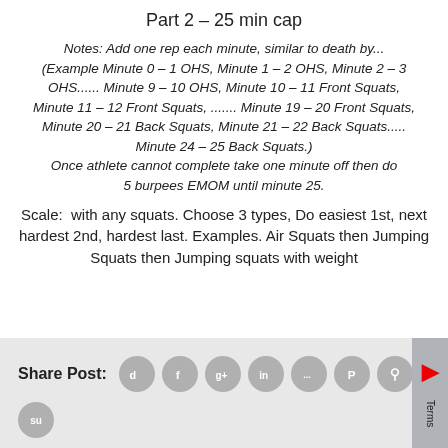Part 2 – 25 min cap
Notes: Add one rep each minute, similar to death by... (Example Minute 0 – 1 OHS, Minute 1 – 2 OHS, Minute 2 – 3 OHS...... Minute 9 – 10 OHS, Minute 10 – 11 Front Squats, Minute 11 – 12 Front Squats, ....... Minute 19 – 20 Front Squats, Minute 20 – 21 Back Squats, Minute 21 – 22 Back Squats..... Minute 24 – 25 Back Squats.) Once athlete cannot complete take one minute off then do 5 burpees EMOM until minute 25.
Scale:  with any squats. Choose 3 types, Do easiest 1st, next hardest 2nd, hardest last. Examples. Air Squats then Jumping Squats then Jumping squats with weight
[Figure (infographic): Share Post section with social media icons: digg, facebook, google+, linkedin, myspace, pinterest, reddit, stumbleupon]